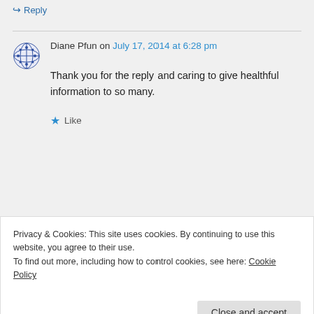↳ Reply
Diane Pfun on July 17, 2014 at 6:28 pm
Thank you for the reply and caring to give healthful information to so many.
★ Like
Privacy & Cookies: This site uses cookies. By continuing to use this website, you agree to their use.
To find out more, including how to control cookies, see here: Cookie Policy
Close and accept